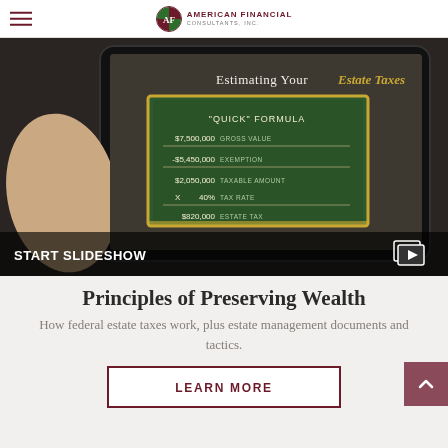American Financial Consultants, Inc.
[Figure (screenshot): A hand holding a tablet displaying a slideshow about 'Estimating Your Estate Taxes' with a chalkboard showing the 'Quick' Formula: $7,500,000 Gross Value - $5,450,000 Exemption = $2,050,000 Taxable Amount x 40% Tax Rate = $820,000 Estate Tax. A 'START SLIDESHOW' bar is visible at the bottom.]
Principles of Preserving Wealth
How federal estate taxes work, plus estate management documents and tactics.
LEARN MORE